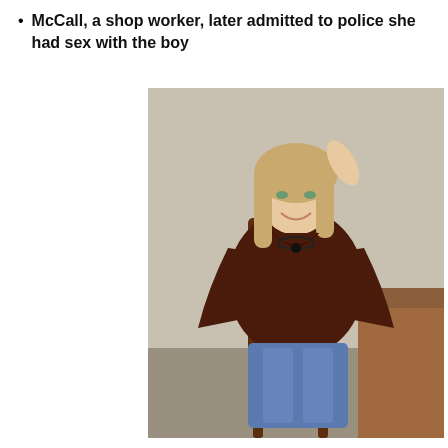McCall, a shop worker, later admitted to police she had sex with the boy
[Figure (photo): A woman with long blonde hair wearing a dark maroon v-neck top and blue jeans, seated on a wooden chair next to a wooden table, smiling at the camera with one hand raised behind her head.]